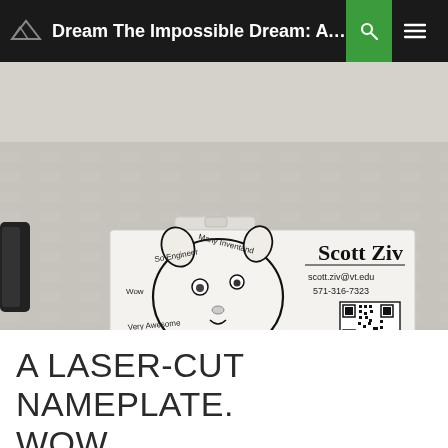Dream The Impossible Dream: A Collecti...
[Figure (photo): Photo of a laser-cut acrylic nameplate mounted on a white brick wall. The nameplate features the Doge meme dog face with 'doge meme' style text around it (So Engineer, Many Inventand, Wow, Very Awesome, Such Doginess, Much Shr t, lol). On the right side of the nameplate: 'Scott Ziv', 'scott.ziv@vt.edu', '571-316-7323', and a QR code. A black door holder is visible on the left edge.]
A LASER-CUT NAMEPLATE. WOW.